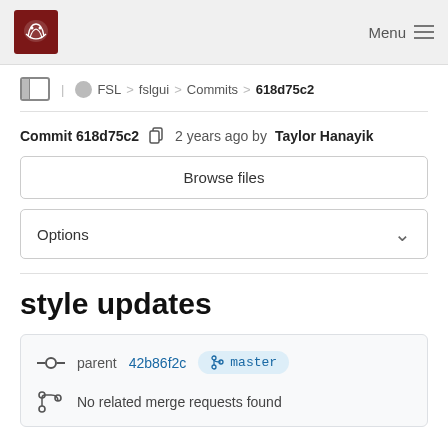FSL > fslgui > Commits > 618d75c2
Commit 618d75c2  2 years ago by Taylor Hanayik
Browse files
Options
style updates
parent 42b86f2c  master
No related merge requests found